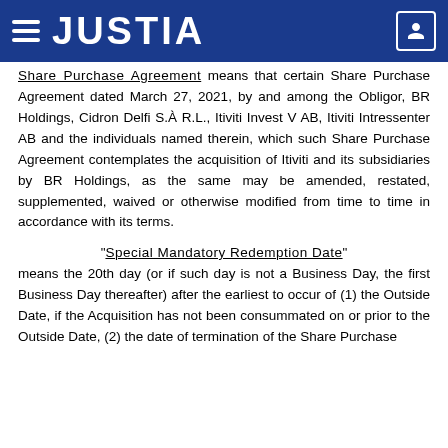JUSTIA
Share Purchase Agreement" means that certain Share Purchase Agreement dated March 27, 2021, by and among the Obligor, BR Holdings, Cidron Delfi S.À R.L., Itiviti Invest V AB, Itiviti Intressenter AB and the individuals named therein, which such Share Purchase Agreement contemplates the acquisition of Itiviti and its subsidiaries by BR Holdings, as the same may be amended, restated, supplemented, waived or otherwise modified from time to time in accordance with its terms.
"Special Mandatory Redemption Date" means the 20th day (or if such day is not a Business Day, the first Business Day thereafter) after the earliest to occur of (1) the Outside Date, if the Acquisition has not been consummated on or prior to the Outside Date, (2) the date of termination of the Share Purchase